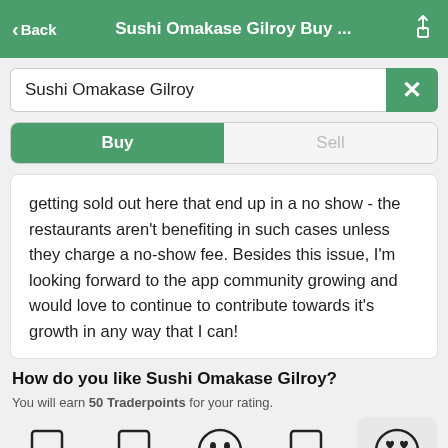< Back   Sushi Omakase Gilroy Buy ...
Sushi Omakase Gilroy
Buy | Sell
getting sold out here that end up in a no show - the restaurants aren't benefiting in such cases unless they charge a no-show fee. Besides this issue, I'm looking forward to the app community growing and would love to continue to contribute towards it's growth in any way that I can!
How do you like Sushi Omakase Gilroy?
You will earn 50 Traderpoints for your rating.
[Figure (other): A row of five emoji rating buttons: four placeholder rectangles and one selected smiley face with heart eyes on a grey background]